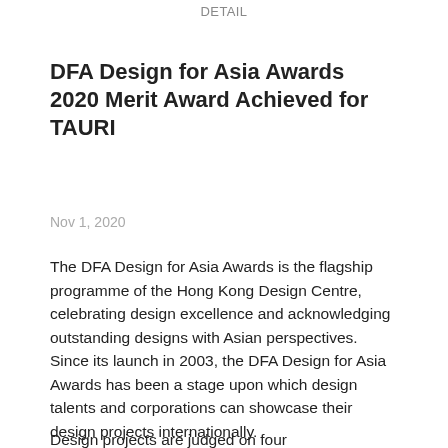DETAIL
DFA Design for Asia Awards 2020 Merit Award Achieved for TAURI
Nov 1, 2020
The DFA Design for Asia Awards is the flagship programme of the Hong Kong Design Centre, celebrating design excellence and acknowledging outstanding designs with Asian perspectives. Since its launch in 2003, the DFA Design for Asia Awards has been a stage upon which design talents and corporations can showcase their design projects internationally.
Design projects are judged on four